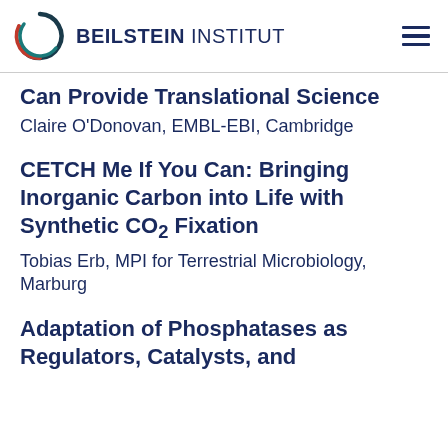BEILSTEIN INSTITUT
Can Provide Translational Science
Claire O'Donovan, EMBL-EBI, Cambridge
CETCH Me If You Can: Bringing Inorganic Carbon into Life with Synthetic CO₂ Fixation
Tobias Erb, MPI for Terrestrial Microbiology, Marburg
Adaptation of Phosphatases as Regulators, Catalysts, and ...